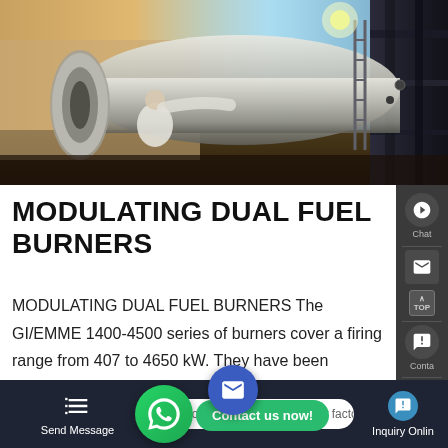[Figure (photo): Industrial boiler being serviced or installed outdoors. A person in white clothing works near a large cylindrical metallic boiler. Steel structures and fittings visible on the right side. Outdoor industrial setting with sky in background.]
MODULATING DUAL FUEL BURNERS
MODULATING DUAL FUEL BURNERS The GI/EMME 1400-4500 series of burners cover a firing range from 407 to 4650 kW. They have been designed to high specifications, they are suitable for matching with all kinds of form press